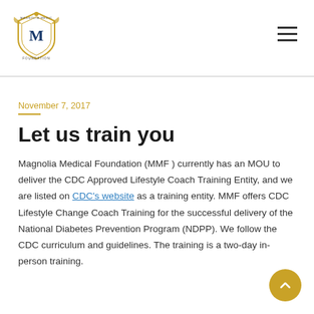Magnolia Medical Foundation logo and navigation
November 7, 2017
Let us train you
Magnolia Medical Foundation (MMF ) currently has an MOU to deliver the CDC Approved Lifestyle Coach Training Entity, and we are listed on CDC's website as a training entity. MMF offers CDC Lifestyle Change Coach Training for the successful delivery of the National Diabetes Prevention Program (NDPP). We follow the CDC curriculum and guidelines. The training is a two-day in-person training.